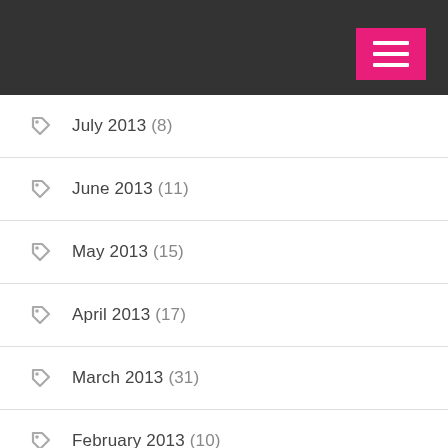July 2013 (8)
June 2013 (11)
May 2013 (15)
April 2013 (17)
March 2013 (31)
February 2013 (10)
January 2013 (8)
December 2012 (12)